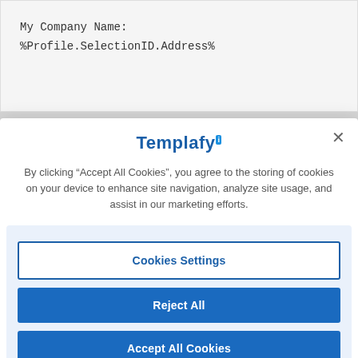My Company Name:
%Profile.SelectionID.Address%
[Figure (screenshot): Cookie consent modal dialog for Templafy website with logo, close button, descriptive text, and three action buttons: Cookies Settings, Reject All, Accept All Cookies]
By clicking “Accept All Cookies”, you agree to the storing of cookies on your device to enhance site navigation, analyze site usage, and assist in our marketing efforts.
Cookies Settings
Reject All
Accept All Cookies